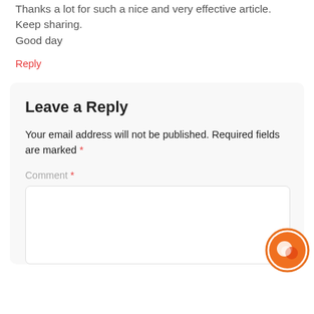Thanks a lot for such a nice and very effective article. Keep sharing.
Good day
Reply
Leave a Reply
Your email address will not be published. Required fields are marked *
Comment *
[Figure (logo): Orange circular chat widget icon in bottom right corner]